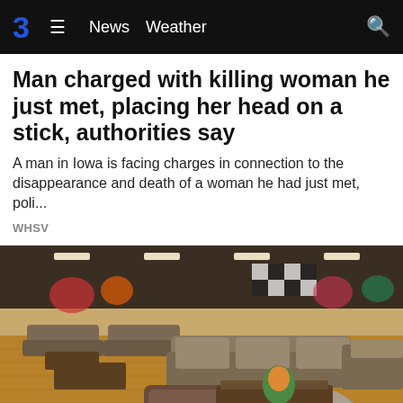3  ≡  News  Weather  🔍
Man charged with killing woman he just met, placing her head on a stick, authorities say
A man in Iowa is facing charges in connection to the disappearance and death of a woman he had just met,  poli...
WHSV
[Figure (photo): Interior of a large furniture store showroom with sofas, armchairs, coffee tables, and decorative items on a wood floor, with a checkered ceiling and colorful displays in the background.]